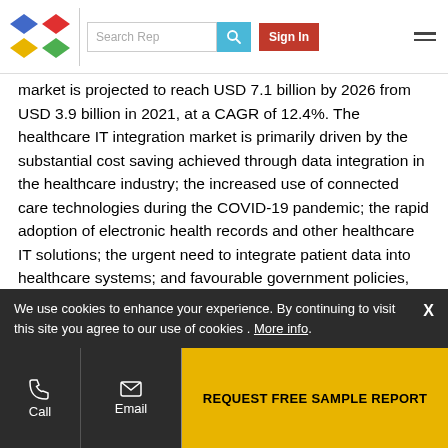[Figure (logo): Colorful diamond/rhombus logo with four colored quadrants (blue, red, yellow, green)]
market is projected to reach USD 7.1 billion by 2026 from USD 3.9 billion in 2021, at a CAGR of 12.4%. The healthcare IT integration market is primarily driven by the substantial cost saving achieved through data integration in the healthcare industry; the increased use of connected care technologies during the COVID-19 pandemic; the rapid adoption of electronic health records and other healthcare IT solutions; the urgent need to integrate patient data into healthcare systems; and favourable government policies, funding programs, and initiatives to deploy healthcare IT integration solutions. However, interoperability issues and the high cost associated with healthcare IT integration solutions limit the overall adoption
We use cookies to enhance your experience. By continuing to visit this site you agree to our use of cookies . More info.
REQUEST FREE SAMPLE REPORT